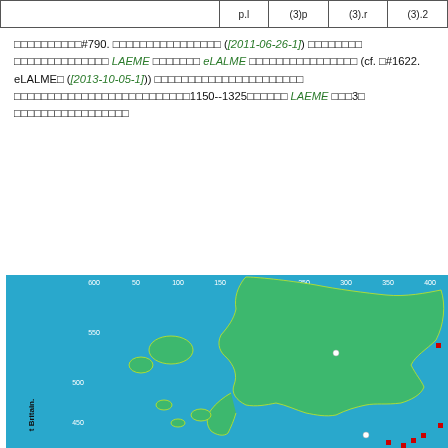|  | p.l | (3)p | (3).r | (3).2 |
| --- | --- | --- | --- | --- |
□□□□□□□□□□#790. □□□□□□□□□□□□□□□□ ([2011-06-26-1]) □□□□□□□□ □□□□□□□□□□□□□□ LAEME □□□□□□□ eLALME □□□□□□□□□□□□□□□□ (cf. □#1622. eLALME□ ([2013-10-05-1])) □□□□□□□□□□□□□□□□□□□□□□ □□□□□□□□□□□□□□□□□□□□□□□□□□1150--1325□□□□□□ LAEME □□□3□ □□□□□□□□□□□□□□□□□
[Figure (map): Map of Great Britain showing survey points. Legend: red square = 3sg pres ind: 's' type incl rare abbr es.; blue square = 3sg pres ind: '-th/-þ/-ð' type (as opposed to '-s' type), all variants.; white circle = Survey Point. Map shows coastline of Britain with yellow borders, blue sea, green land, with red and white dots marking survey points.]